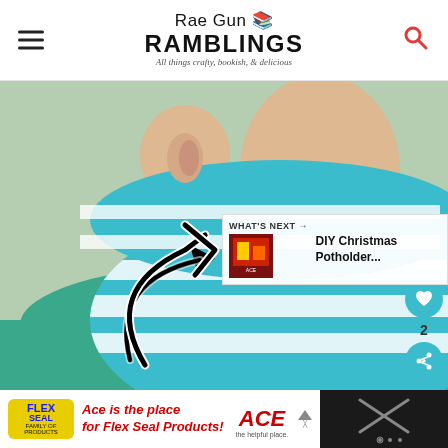Rae Gun Ramblings — All things crafty, bookish, & delicious
[Figure (photo): Child wearing a teal and white striped fabric face mask, close-up side profile showing ear and neck. A large arrow annotation points to the bottom edge of the mask.]
[Figure (infographic): What's Next card with thumbnail for DIY Christmas Potholder article]
[Figure (infographic): Advertisement banner: Ace Hardware / Flex Seal — Ace is the place for Flex Seal Products!]